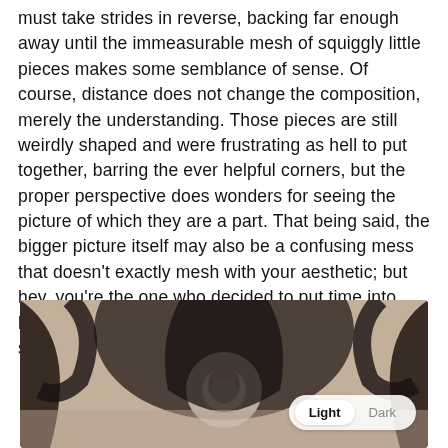must take strides in reverse, backing far enough away until the immeasurable mesh of squiggly little pieces makes some semblance of sense. Of course, distance does not change the composition, merely the understanding. Those pieces are still weirdly shaped and were frustrating as hell to put together, barring the ever helpful corners, but the proper perspective does wonders for seeing the picture of which they are a part. That being said, the bigger picture itself may also be a confusing mess that doesn't exactly mesh with your aesthetic; but hey, you're the one who decided to put time into building a jigsaw puzzle. Unless you were forced by some third party...blink twice if you need help.
[Figure (illustration): A dark illustrated scene showing a figure (possibly hooded) with swirling dark elements and a glowing circular light in the center. A Light/Dark mode toggle pill is overlaid in the bottom-right corner.]